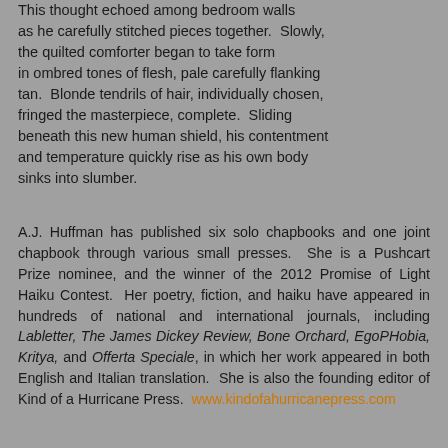This thought echoed among bedroom walls as he carefully stitched pieces together.  Slowly, the quilted comforter began to take form in ombred tones of flesh, pale carefully flanking tan.  Blonde tendrils of hair, individually chosen, fringed the masterpiece, complete.  Sliding beneath this new human shield, his contentment and temperature quickly rise as his own body sinks into slumber.
A.J. Huffman has published six solo chapbooks and one joint chapbook through various small presses.  She is a Pushcart Prize nominee, and the winner of the 2012 Promise of Light Haiku Contest.  Her poetry, fiction, and haiku have appeared in hundreds of national and international journals, including Labletter, The James Dickey Review, Bone Orchard, EgoPHobia, Kritya, and Offerta Speciale, in which her work appeared in both English and Italian translation.  She is also the founding editor of Kind of a Hurricane Press.  www.kindofahurricanepress.com